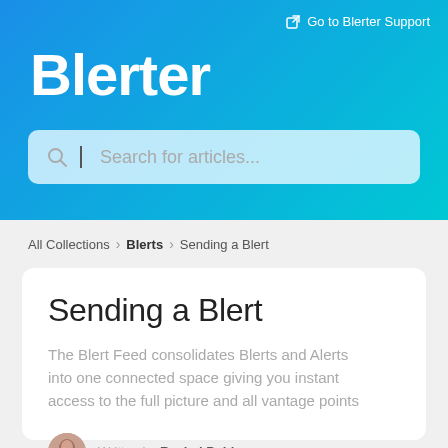Go to Blerter Support
Blerter
[Figure (screenshot): Search bar with placeholder text 'Search for articles...']
All Collections > Blerts > Sending a Blert
Sending a Blert
The Blert Feed consolidates Blerts and Alerts into one connected space giving you instant access to the full picture and all vantage points
Written by Rachel Pohlen